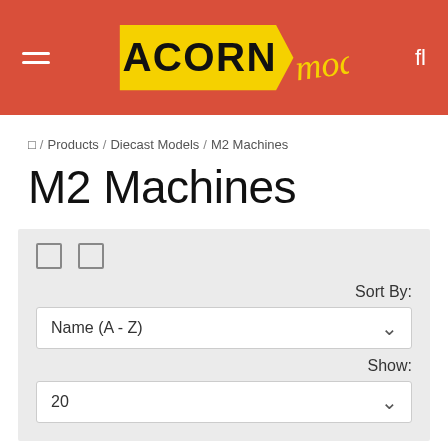[Figure (logo): Acorn Models logo — yellow pentagon shape with 'ACORN' in bold black text and 'models' in yellow cursive script, on a red header background]
□ / Products / Diecast Models / M2 Machines
M2 Machines
Sort By:
Name (A - Z)
Show:
20